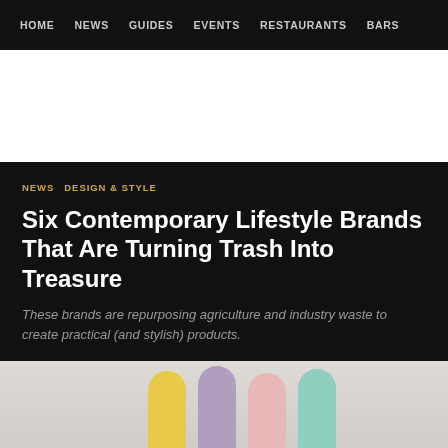HOME  NEWS  GUIDES  EVENTS  RESTAURANTS  BARS
[Figure (other): White advertisement banner area]
NEWS  DESIGN & STYLE
Six Contemporary Lifestyle Brands That Are Turning Trash Into Treasure
These brands are repurposing agriculture and industry waste to create practical (and stylish) products.
[Figure (photo): Four pastel colored ribbons or straps hanging down — yellow, lavender, pink, and mint — on a light gray background]
Home  Featured  Nearby  Popular  Latest